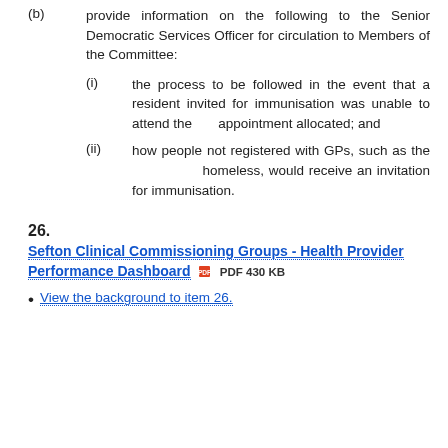(b) provide information on the following to the Senior Democratic Services Officer for circulation to Members of the Committee:
(i) the process to be followed in the event that a resident invited for immunisation was unable to attend the appointment allocated; and
(ii) how people not registered with GPs, such as the homeless, would receive an invitation for immunisation.
26.
Sefton Clinical Commissioning Groups - Health Provider Performance Dashboard  PDF 430 KB
View the background to item 26.